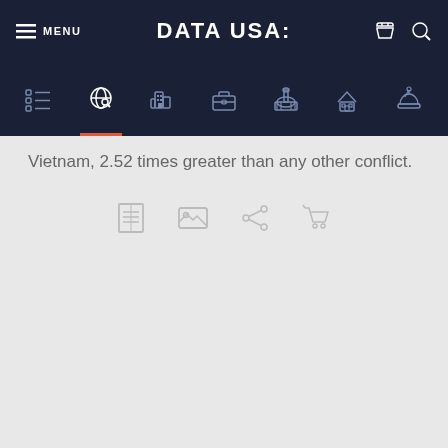MENU  DATA USA:
[Figure (screenshot): Navigation bar with icons: list/browse, globe/search, buildings, briefcase, capitol building, house, hard hat]
Vietnam, 2.52 times greater than any other conflict.
[Figure (screenshot): Toolbar icons: document/table view, image view, share, cart]